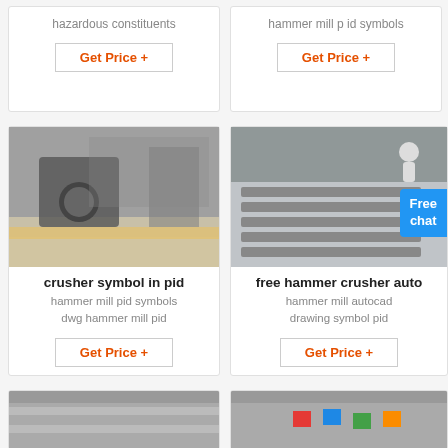hazardous constituents
hammer mill p id symbols
Get Price +
Get Price +
[Figure (photo): Industrial crusher machine in a factory setting]
[Figure (photo): Metal grate/grille component, industrial equipment, with person in background and Free chat button overlay]
crusher symbol in pid
free hammer crusher auto
hammer mill pid symbols dwg hammer mill pid
hammer mill autocad drawing symbol pid
Get Price +
Get Price +
[Figure (photo): Industrial factory interior, partial view]
[Figure (photo): Industrial factory interior with colorful flags, partial view]